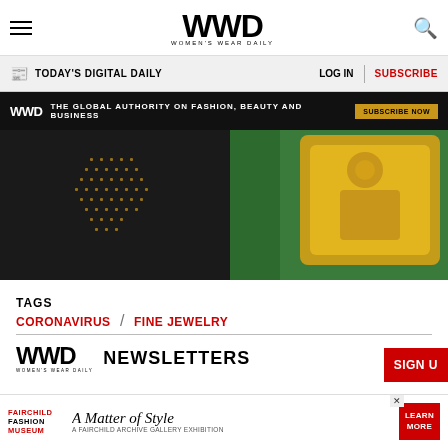WWD — Women's Wear Daily
TODAY'S DIGITAL DAILY | LOG IN | SUBSCRIBE
WWD — THE GLOBAL AUTHORITY ON FASHION, BEAUTY AND BUSINESS — SUBSCRIBE NOW
[Figure (photo): Dark background with yellow dot pattern on left and yellow bag/accessories on right against green foliage background]
TAGS
CORONAVIRUS / FINE JEWELRY
[Figure (logo): WWD Women's Wear Daily logo with NEWSLETTERS text]
SIGN UP
Sign up for WWD news straight to your inbox
[Figure (infographic): Fairchild Fashion Museum — A Matter of Style — A Fairchild Archive Gallery Exhibition advertisement with LEARN MORE button]